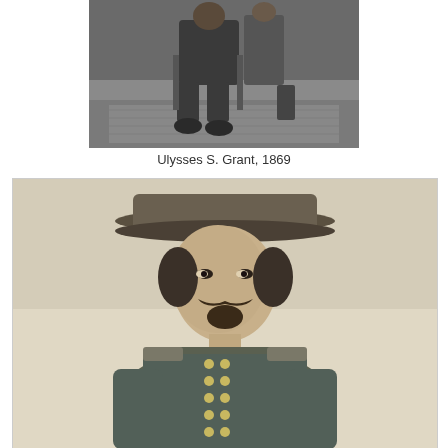[Figure (photo): Black and white historical photograph of Ulysses S. Grant seated, 1869, showing full body with legs visible and a patterned floor below.]
Ulysses S. Grant, 1869
[Figure (photo): Black and white portrait photograph of a Civil War era military officer wearing a wide-brimmed hat and Union Army uniform with buttons and epaulettes, featuring a mustache and goatee, looking to the side.]